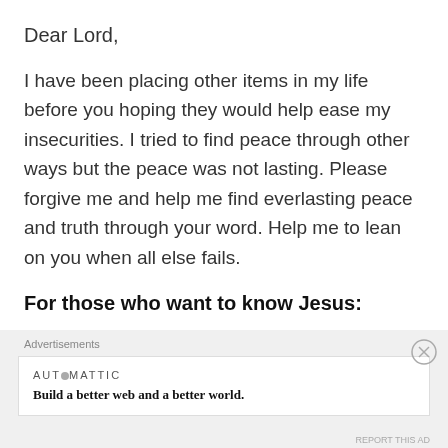Dear Lord,
I have been placing other items in my life before you hoping they would help ease my insecurities. I tried to find peace through other ways but the peace was not lasting. Please forgive me and help me find everlasting peace and truth through your word. Help me to lean on you when all else fails.
For those who want to know Jesus:
Advertisements
AUTOMATTIC
Build a better web and a better world.